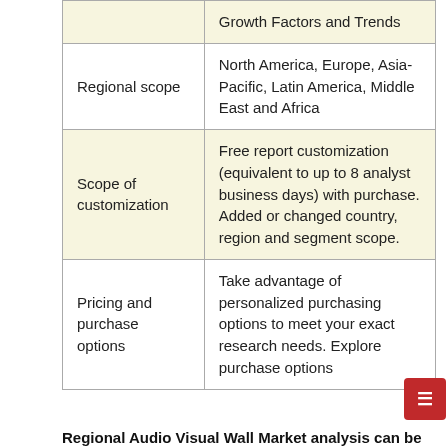|  |  |
| --- | --- |
|  | Growth Factors and Trends |
| Regional scope | North America, Europe, Asia-Pacific, Latin America, Middle East and Africa |
| Scope of customization | Free report customization (equivalent to up to 8 analyst business days) with purchase. Added or changed country, region and segment scope. |
| Pricing and purchase options | Take advantage of personalized purchasing options to meet your exact research needs. Explore purchase options |
Regional Audio Visual Wall Market analysis can be